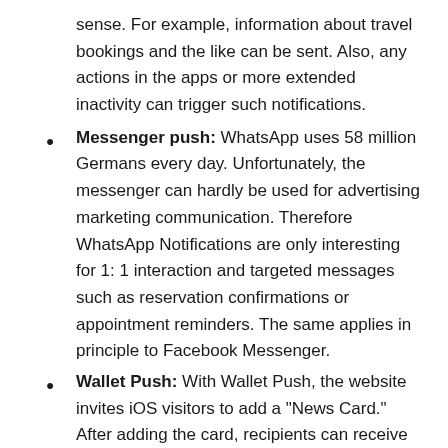sense. For example, information about travel bookings and the like can be sent. Also, any actions in the apps or more extended inactivity can trigger such notifications.
Messenger push: WhatsApp uses 58 million Germans every day. Unfortunately, the messenger can hardly be used for advertising marketing communication. Therefore WhatsApp Notifications are only interesting for 1: 1 interaction and targeted messages such as reservation confirmations or appointment reminders. The same applies in principle to Facebook Messenger.
Wallet Push: With Wallet Push, the website invites iOS visitors to add a "News Card." After adding the card, recipients can receive messages. At the same time, the wallet card can be updated with offers, codes, and much more. It is also possible to add